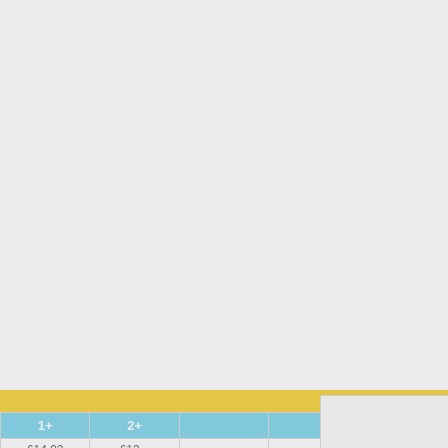[Figure (screenshot): White background page with yellow navigation banner partially visible at bottom, and a pricing table with cyan header row showing '1+' and '2+' columns with prices '£14.92' and '£13...' visible]
This site uses cookies to provide and improve your shopping experience. If you want to benefit from this improved service, please opt-in.
Cookies Page.
I opt-in to a better browsing experience
ACCEPT COOKIES